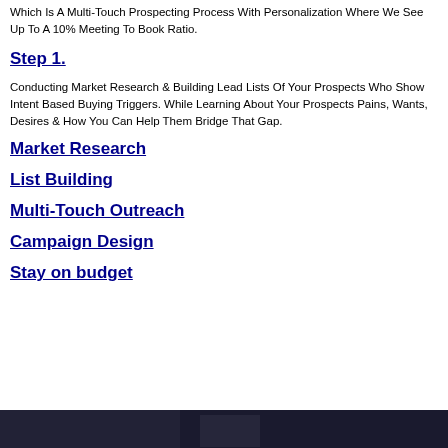Which Is A Multi-Touch Prospecting Process With Personalization Where We See Up To A 10% Meeting To Book Ratio.
Step 1.
Conducting Market Research & Building Lead Lists Of Your Prospects Who Show Intent Based Buying Triggers. While Learning About Your Prospects Pains, Wants, Desires & How You Can Help Them Bridge That Gap.
Market Research
List Building
Multi-Touch Outreach
Campaign Design
Stay on budget
[Figure (photo): Dark photo strip at the bottom of the page]